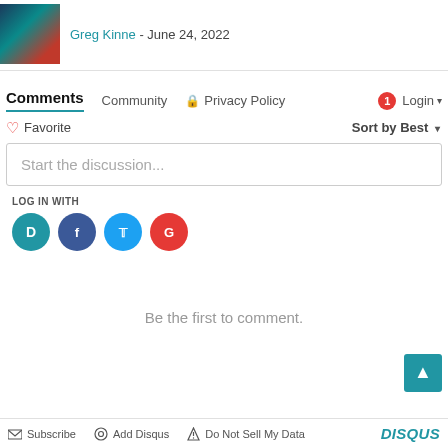Greg Kinne - June 24, 2022
Comments   Community   🔒 Privacy Policy   1 Login ▾
♡ Favorite   Sort by Best ▾
Start the discussion...
LOG IN WITH
OR SIGN UP WITH DISQUS ?
Name
Be the first to comment.
Subscribe   Add Disqus   Do Not Sell My Data   DISQUS